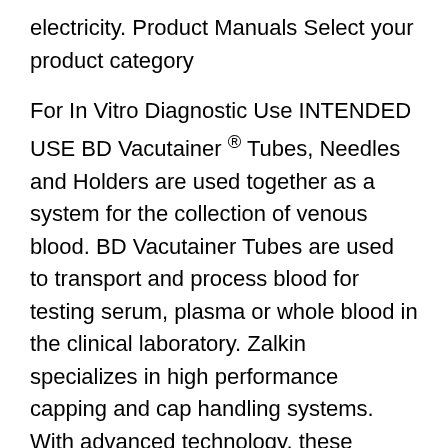electricity. Product Manuals Select your product category
For In Vitro Diagnostic Use INTENDED USE BD Vacutainer ® Tubes, Needles and Holders are used together as a system for the collection of venous blood. BD Vacutainer Tubes are used to transport and process blood for testing serum, plasma or whole blood in the clinical laboratory. Zalkin specializes in high performance capping and cap handling systems. With advanced technology, these machines are high speed, quality, and durable for a ...
Kinex Cappers ® manufactures capping machines, bottle cappers and cap tighteners that apply screw caps, lug caps and snap-on